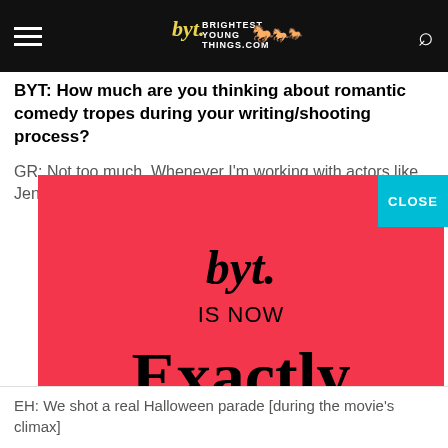BYT: Brightest Young Things
BYT: How much are you thinking about romantic comedy tropes during your writing/shooting process?
GR: Not too much. Whenever I'm working with actors like Jenny
[Figure (advertisement): BYT rebranding advertisement on red background. Shows 'byt.' logo in italic script at top, then 'IS NOW' text, then 'Exactly' in large serif font, then 'VISIT US AT WWW.EXACTLYAGENCY.COM' at bottom. Close button in cyan top right.]
EH: We shot a real Halloween parade [during the movie's climax]